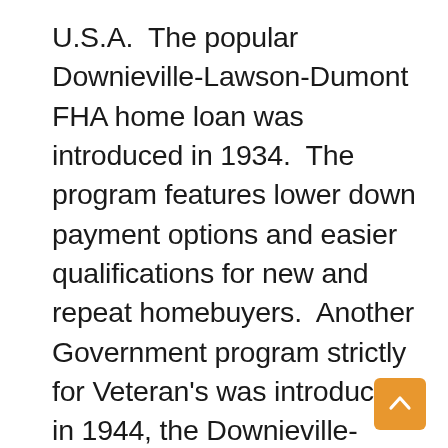U.S.A.  The popular Downieville-Lawson-Dumont FHA home loan was introduced in 1934.  The program features lower down payment options and easier qualifications for new and repeat homebuyers.  Another Government program strictly for Veteran's was introduced in 1944, the Downieville-Lawson-Dumont VA home loan allows for certain service members to buy a home with no money down even with lower credit scores.  Another favorite of ours, the USDA home loan created in 1991 offers the no money down option.  Last but not least a homebuyer favorite the forgivable Downieville-